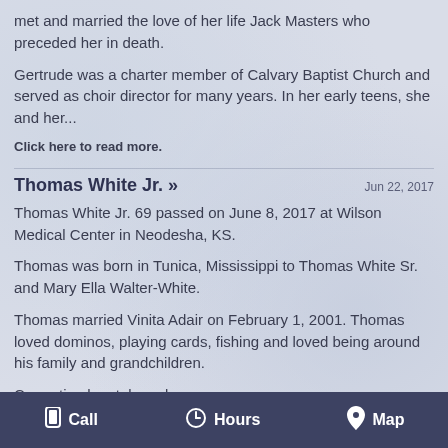met and married the love of her life Jack Masters who preceded her in death.
Gertrude was a charter member of Calvary Baptist Church and served as choir director for many years. In her early teens, she and her...
Click here to read more.
Thomas White Jr. »
Jun 22, 2017
Thomas White Jr. 69 passed on June 8, 2017 at Wilson Medical Center in Neodesha, KS.
Thomas was born in Tunica, Mississippi to Thomas White Sr. and Mary Ella Walter-White.
Thomas married Vinita Adair on February 1, 2001. Thomas loved dominos, playing cards, fishing and loved being around his family and grandchildren.
Cremation has taken place.
Call   Hours   Map